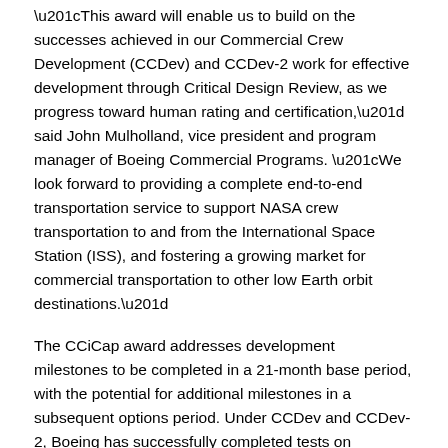“This award will enable us to build on the successes achieved in our Commercial Crew Development (CCDev) and CCDev-2 work for effective development through Critical Design Review, as we progress toward human rating and certification,” said John Mulholland, vice president and program manager of Boeing Commercial Programs. “We look forward to providing a complete end-to-end transportation service to support NASA crew transportation to and from the International Space Station (ISS), and fostering a growing market for commercial transportation to other low Earth orbit destinations.”
The CCiCap award addresses development milestones to be completed in a 21-month base period, with the potential for additional milestones in a subsequent options period. Under CCDev and CCDev-2, Boeing has successfully completed tests on engines, abort systems, propulsion, heat shield jettison, attitude control systems and landing to provide full data on functional elements of the spacecraft’s design.